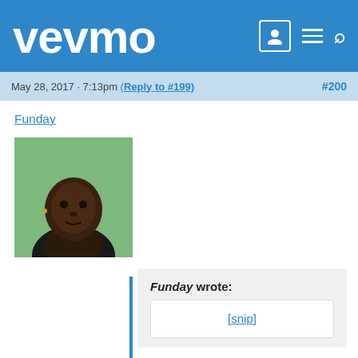vevmo
May 28, 2017 · 7:13pm (Reply to #199) #200
Funday
[Figure (photo): Profile photo of user Funday, a young Black man looking at camera, with green background]
Funday wrote: [snip] Don't you mean people with good taste finally here on Vevmo? Guess no spoilers pinkie rose